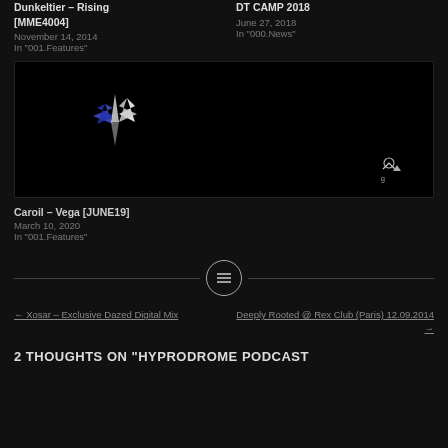Dunkeltier – Rising [MME4004]
November 14, 2014
In "001.Features"
DT CAMP 2018
June 27, 2018
In "000.News"
[Figure (illustration): Dark background with blue and white sparkle/star shape and small person silhouette icon in lower right]
Caroil – Vega [JUNE19]
March 10, 2020
In "001.Features"
[Figure (other): Horizontal divider line with circular icon containing three horizontal lines (hamburger menu) in the center]
← Xosar – Exclusive Dazed Digital Mix
Deeply Rooted @ Rex Club (Paris) 12.09.2014 →
2 THOUGHTS ON "HYPRODROME PODCAST